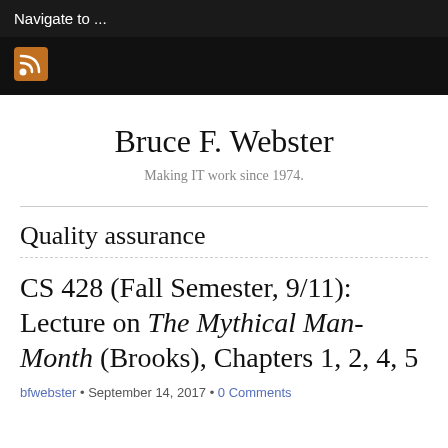Navigate to ...
[Figure (logo): RSS feed icon — orange/gold square with RSS symbol]
Bruce F. Webster
Making IT work since 1974.
Quality assurance
CS 428 (Fall Semester, 9/11): Lecture on The Mythical Man-Month (Brooks), Chapters 1, 2, 4, 5
bfwebster • September 14, 2017 • 0 Comments